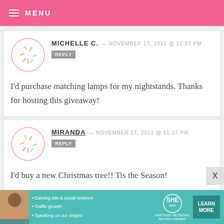MENU
MICHELLE C. — NOVEMBER 17, 2011 @ 11:37 PM
REPLY
I'd purchase matching lamps for my nightstands. Thanks for hosting this giveaway!
MIRANDA — NOVEMBER 17, 2011 @ 11:37 PM
REPLY
I'd buy a new Christmas tree!! Tis the Season!
[Figure (infographic): SHE Partner Network advertisement banner with photo of woman, bullet points about earning site & social revenue, traffic growth, speaking on our stages, and a Learn More button]